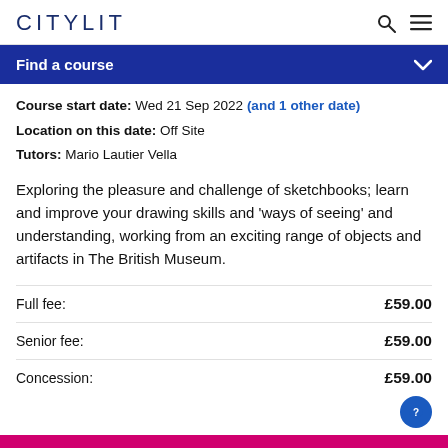CITYLIT
Find a course
Course start date: Wed 21 Sep 2022 (and 1 other date)
Location on this date: Off Site
Tutors: Mario Lautier Vella
Exploring the pleasure and challenge of sketchbooks; learn and improve your drawing skills and 'ways of seeing' and understanding, working from an exciting range of objects and artifacts in The British Museum.
Full fee: £59.00
Senior fee: £59.00
Concession: £59.00